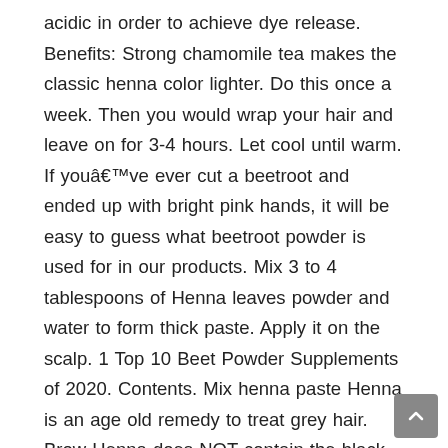acidic in order to achieve dye release. Benefits: Strong chamomile tea makes the classic henna color lighter. Do this once a week. Then you would wrap your hair and leave on for 3-4 hours. Let cool until warm. If youâve ever cut a beetroot and ended up with bright pink hands, it will be easy to guess what beetroot powder is used for in our products. Mix 3 to 4 tablespoons of Henna leaves powder and water to form thick paste. Apply it on the scalp. 1 Top 10 Beet Powder Supplements of 2020. Contents. Mix henna paste Henna is an age old remedy to treat grey hair. Brow Henna does NOT contain the black chemical P.P.D. Herbal Treatment For Grey Hair 7 . Brandy to get an intense shade of red. After the henna paste sits covered with plastic for several hours, it releases the dye, which looks like a brownish color on the surface of the paste.